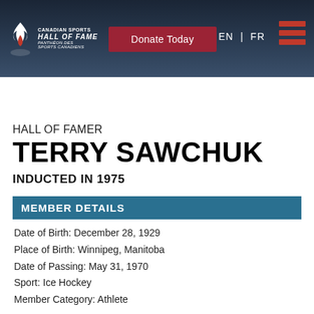[Figure (logo): Canadian Sports Hall of Fame logo with flame icon and text]
Donate Today | EN | FR
HALL OF FAMERS
HALL OF FAMER
TERRY SAWCHUK
INDUCTED IN 1975
MEMBER DETAILS
Date of Birth: December 28, 1929
Place of Birth: Winnipeg, Manitoba
Date of Passing: May 31, 1970
Sport: Ice Hockey
Member Category: Athlete
CAREER HIGHLIGHTS
1948